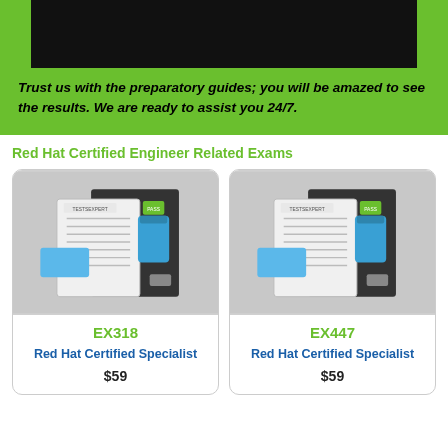[Figure (photo): Black bar (redacted content) on green background]
Trust us with the preparatory guides; you will be amazed to see the results. We are ready to assist you 24/7.
Red Hat Certified Engineer Related Exams
[Figure (photo): TestsExpert product bundle image for EX318]
EX318
Red Hat Certified Specialist
$59
[Figure (photo): TestsExpert product bundle image for EX447]
EX447
Red Hat Certified Specialist
$59